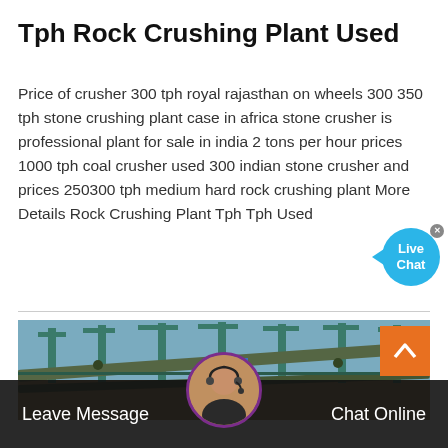Tph Rock Crushing Plant Used
Price of crusher 300 tph royal rajasthan on wheels 300 350 tph stone crushing plant case in africa stone crusher is professional plant for sale in india 2 tons per hour prices 1000 tph coal crusher used 300 indian stone crusher and prices 250300 tph medium hard rock crushing plant More Details Rock Crushing Plant Tph Tph Used
[Figure (photo): Aerial or elevated view of an industrial rock crushing plant facility with conveyor belts, structural frames, and industrial buildings]
Leave Message   Chat Online